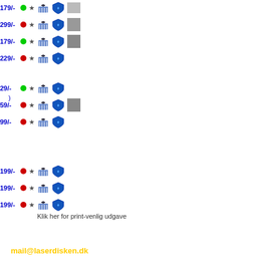[Figure (screenshot): Price rows with colored dots, star icons, basket icons, shield icons and small thumbnails. Prices: 179/-, 299/-, 179/-, 229/-, 29/-, 59/-, 99/-, 199/-, 199/-, 199/-]
)
Klik her for print-venlig udgave
mail@laserdisken.dk